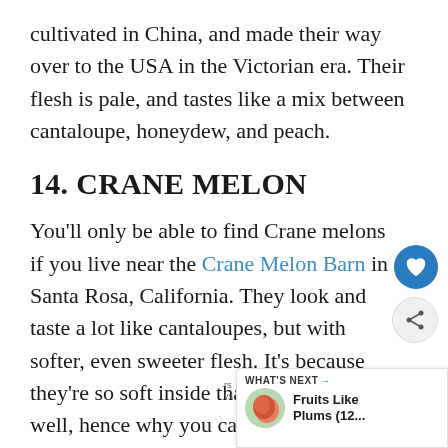cultivated in China, and made their way over to the USA in the Victorian era. Their flesh is pale, and tastes like a mix between cantaloupe, honeydew, and peach.
14. CRANE MELON
You'll only be able to find Crane melons if you live near the Crane Melon Barn in Santa Rosa, California. They look and taste a lot like cantaloupes, but with softer, even sweeter flesh. It's because they're so soft inside that they don't travel well, hence why you can only get them if you live locally.